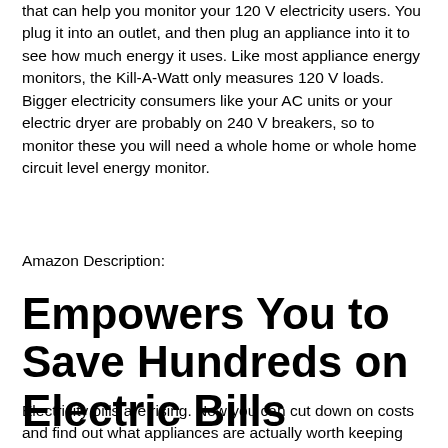that can help you monitor your 120 V electricity users. You plug it into an outlet, and then plug an appliance into it to see how much energy it uses. Like most appliance energy monitors, the Kill-A-Watt only measures 120 V loads. Bigger electricity consumers like your AC units or your electric dryer are probably on 240 V breakers, so to monitor these you will need a whole home or whole home circuit level energy monitor.
Amazon Description:
Empowers You to Save Hundreds on Electric Bills
Electricity bills are rising. Now you can cut down on costs and find out what appliances are actually worth keeping plugged in. Simply connect these